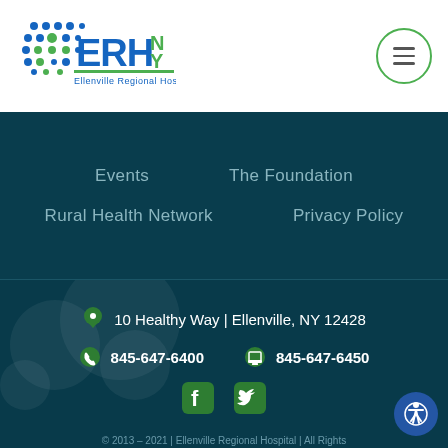[Figure (logo): ERHY NY - Ellenville Regional Hospital logo with blue dot pattern and green text]
[Figure (other): Hamburger menu button inside a green circle border]
Events
The Foundation
Rural Health Network
Privacy Policy
10 Healthy Way | Ellenville, NY 12428
845-647-6400
845-647-6450
[Figure (other): Facebook and Twitter social media icons in teal/green color]
[Figure (other): Accessibility icon button (person in circle) in blue]
© 2013 – 2021 | Ellenville Regional Hospital | All Rights